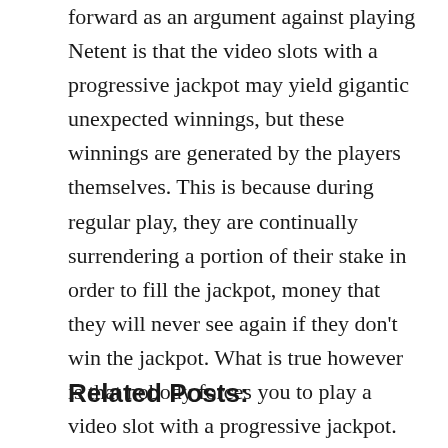forward as an argument against playing Netent is that the video slots with a progressive jackpot may yield gigantic unexpected winnings, but these winnings are generated by the players themselves. This is because during regular play, they are continually surrendering a portion of their stake in order to fill the jackpot, money that they will never see again if they don't win the jackpot. What is true however is that nobody forces you to play a video slot with a progressive jackpot. After all, Netent has plenty of other video slots to play as well.
Related Posts: